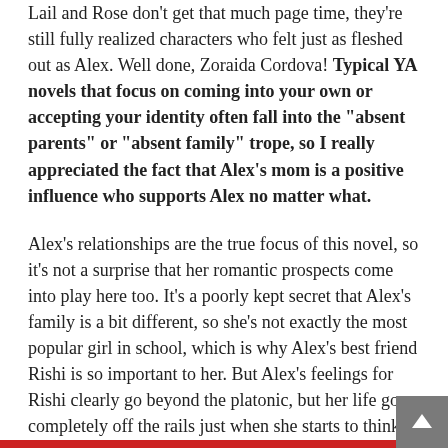Lail and Rose don't get that much page time, they're still fully realized characters who felt just as fleshed out as Alex. Well done, Zoraida Cordova! Typical YA novels that focus on coming into your own or accepting your identity often fall into the "absent parents" or "absent family" trope, so I really appreciated the fact that Alex's mom is a positive influence who supports Alex no matter what.
Alex's relationships are the true focus of this novel, so it's not a surprise that her romantic prospects come into play here too. It's a poorly kept secret that Alex's family is a bit different, so she's not exactly the most popular girl in school, which is why Alex's best friend Rishi is so important to her. But Alex's feelings for Rishi clearly go beyond the platonic, but her life goes completely off the rails just when she starts to think her feelings may be reciprocated. Add to that the fact that handsome and dangerous Nova clearly has eyes for Nova and you'v